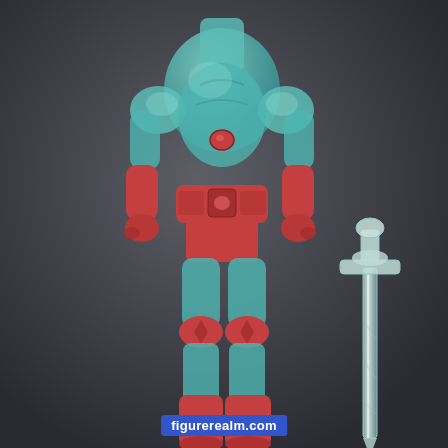[Figure (photo): Product photo of a translucent teal/blue action figure (headless torso visible) with red armor pieces including belt, gloves, knee pads and boots. The figure is displayed with two accessories: a translucent teal round shield/disc on the left and a translucent clear crystal sword on the right. Background is dark grey fabric. Photo from figurerealm.com.]
figurerealm.com